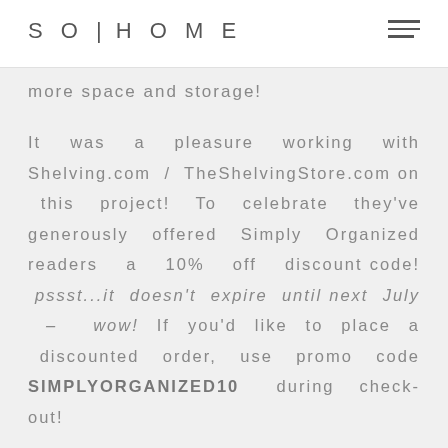SO|HOME
more space and storage!
It was a pleasure working with Shelving.com / TheShelvingStore.com on this project! To celebrate they've generously offered Simply Organized readers a 10% off discount code! pssst...it doesn't expire until next July – wow! If you'd like to place a discounted order, use promo code SIMPLYORGANIZED10 during checkout!